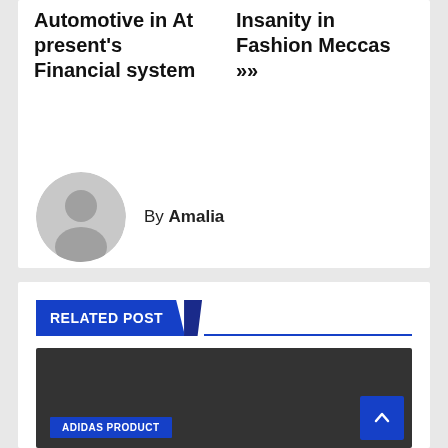Automotive in At present's Financial system
Insanity in Fashion Meccas »
By Amalia
RELATED POST
[Figure (photo): Dark image placeholder for related post with ADIDAS PRODUCT tag label at bottom left]